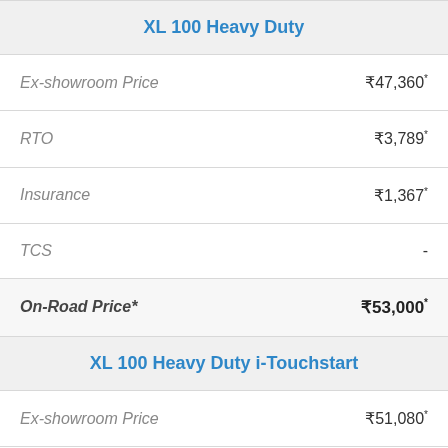XL 100 Heavy Duty
|  |  |
| --- | --- |
| Ex-showroom Price | ₹47,360* |
| RTO | ₹3,789* |
| Insurance | ₹1,367* |
| TCS | - |
| On-Road Price* | ₹53,000* |
XL 100 Heavy Duty i-Touchstart
|  |  |
| --- | --- |
| Ex-showroom Price | ₹51,080* |
| RTO | ₹4,086* |